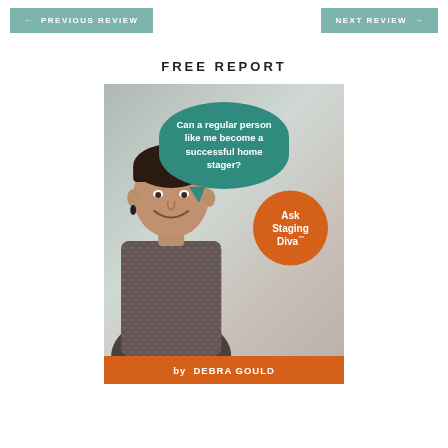← PREVIOUS REVIEW   NEXT REVIEW →
FREE REPORT
[Figure (illustration): Book cover for 'Ask Staging Diva' free report by Debra Gould. Features a smiling woman with short dark hair, a teal speech bubble reading 'Can a regular person like me become a successful home stager?', an orange circular badge with 'Ask Staging Diva', and an orange bottom bar reading 'by DEBRA GOULD'.]